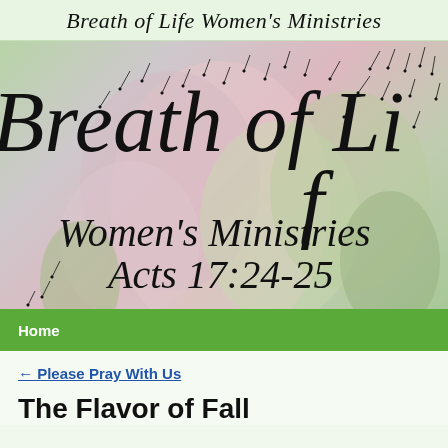Breath of Life Women's Ministries
[Figure (illustration): Hero banner image showing a blurred floral background (pink and green flowers) with dandelion seeds floating in the air. Overlaid in large cursive/italic script text: 'Breath of Li' (partially cut off), 'Women's Ministries', 'Acts 17:24-25']
Home
← Please Pray With Us
The Flavor of Fall